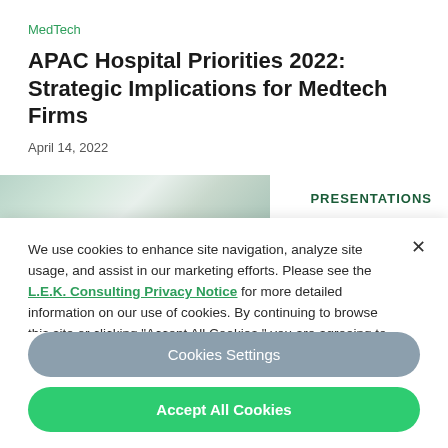MedTech
APAC Hospital Priorities 2022: Strategic Implications for Medtech Firms
April 14, 2022
[Figure (photo): Partial view of a hospital or medical facility interior, cropped image strip]
PRESENTATIONS
We use cookies to enhance site navigation, analyze site usage, and assist in our marketing efforts. Please see the L.E.K. Consulting Privacy Notice for more detailed information on our use of cookies. By continuing to browse this site or clicking “Accept All Cookies,” you are agreeing to our use of cookies.
Cookies Settings
Accept All Cookies